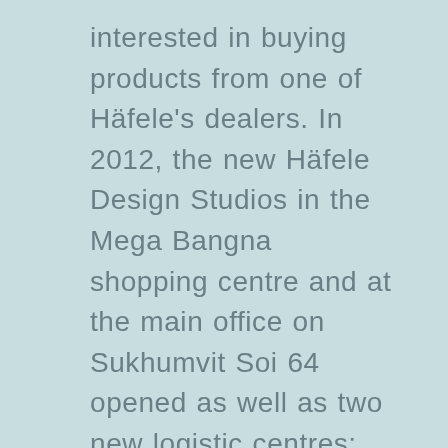interested in buying products from one of Häfele's dealers. In 2012, the new Häfele Design Studios in the Mega Bangna shopping centre and at the main office on Sukhumvit Soi 64 opened as well as two new logistic centres; one in Khon Khaen to support customers in the Northeast (Isaan) and one in Chiang Mai for northern customers. Then in 2014, the Häfele Design Studio at Crystal Design Centre (CDC-